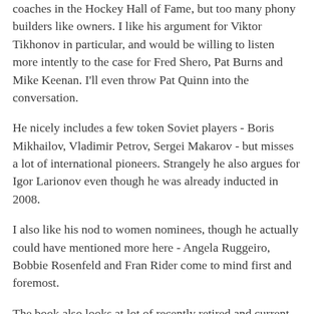coaches in the Hockey Hall of Fame, but too many phony builders like owners. I like his argument for Viktor Tikhonov in particular, and would be willing to listen more intently to the case for Fred Shero, Pat Burns and Mike Keenan. I'll even throw Pat Quinn into the conversation.
He nicely includes a few token Soviet players - Boris Mikhailov, Vladimir Petrov, Sergei Makarov - but misses a lot of international pioneers. Strangely he also argues for Igor Larionov even though he was already inducted in 2008.
I also like his nod to women nominees, though he actually could have mentioned more here - Angela Ruggeiro, Bobbie Rosenfeld and Fran Rider come to mind first and foremost.
The book also looks at lot of recently retired and current players. Again, there are some glaring omissions from the conversation here, too, and some odd selections.
But that's okay. The author states in his introduction that he hopes the book stirs debate and conversations. It certainly will do that!